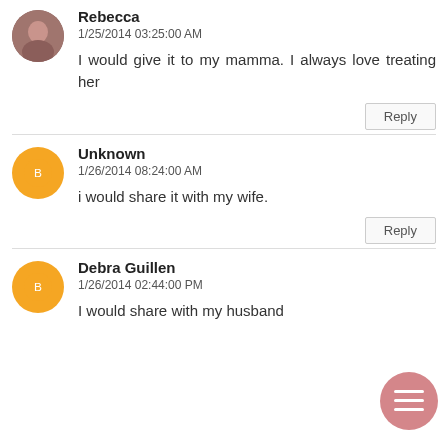Rebecca
1/25/2014 03:25:00 AM
I would give it to my mamma. I always love treating her
Unknown
1/26/2014 08:24:00 AM
i would share it with my wife.
Debra Guillen
1/26/2014 02:44:00 PM
I would share with my husband